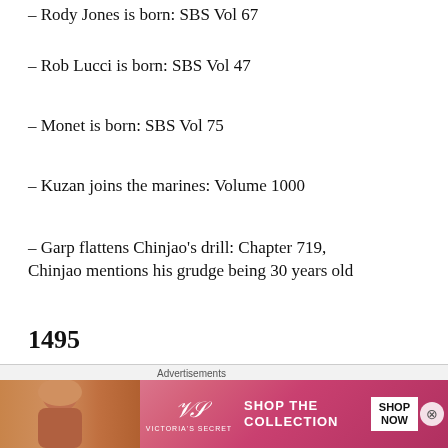– Rody Jones is born: SBS Vol 67
– Rob Lucci is born: SBS Vol 47
– Monet is born: SBS Vol 75
– Kuzan joins the marines: Volume 1000
– Garp flattens Chinjao's drill: Chapter 719, Chinjao mentions his grudge being 30 years old
1495
Advertisements — Victoria's Secret: SHOP THE COLLECTION — SHOP NOW